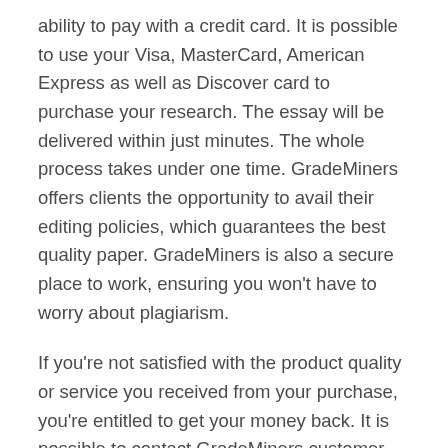ability to pay with a credit card. It is possible to use your Visa, MasterCard, American Express as well as Discover card to purchase your research. The essay will be delivered within just minutes. The whole process takes under one time. GradeMiners offers clients the opportunity to avail their editing policies, which guarantees the best quality paper. GradeMiners is also a secure place to work, ensuring you won't have to worry about plagiarism.
If you're not satisfied with the product quality or service you received from your purchase, you're entitled to get your money back. It is possible to contact GradeMiners customer service If you're not satisfied with the quality. Also, you can check the https://form.jotform.com/220956482353056 essay before you download it. It is safe to know that the essay is completely original. But, in the event that you aren't completely satisfied, you'll get the money back